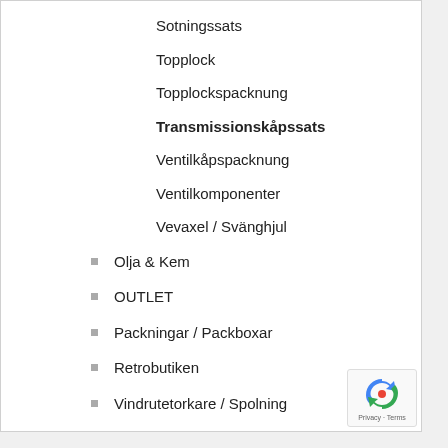Sotningssats
Topplock
Topplockspacknung
Transmissionskåpssats
Ventilkåpspacknung
Ventilkomponenter
Vevaxel / Svänghjul
Olja & Kem
OUTLET
Packningar / Packboxar
Retrobutiken
Vindrutetorkare / Spolning